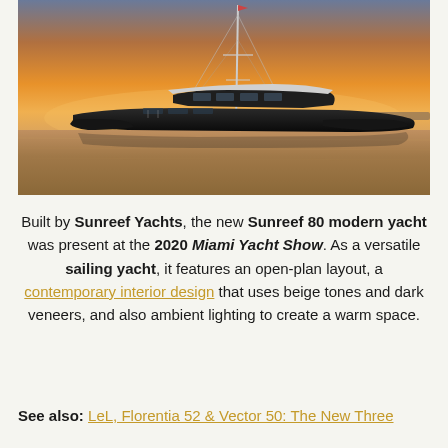[Figure (photo): A large modern catamaran sailing yacht (Sunreef 80) photographed at golden hour/sunset on calm water, silhouetted against an orange and pink sky with a tall mast and rigging visible.]
Built by Sunreef Yachts, the new Sunreef 80 modern yacht was present at the 2020 Miami Yacht Show. As a versatile sailing yacht, it features an open-plan layout, a contemporary interior design that uses beige tones and dark veneers, and also ambient lighting to create a warm space.
See also: LeL, Florentia 52 & Vector 50: The New Three